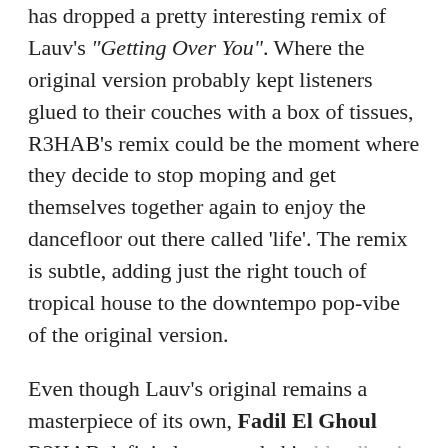has dropped a pretty interesting remix of Lauv's "Getting Over You". Where the original version probably kept listeners glued to their couches with a box of tissues, R3HAB's remix could be the moment where they decide to stop moping and get themselves together again to enjoy the dancefloor out there called 'life'. The remix is subtle, adding just the right touch of tropical house to the downtempo pop-vibe of the original version.

Even though Lauv's original remains a masterpiece of its own, Fadil El Ghoul R3HAB definitely succeeded in blending in just that little bit extra to give "Getting Over You" a slightly